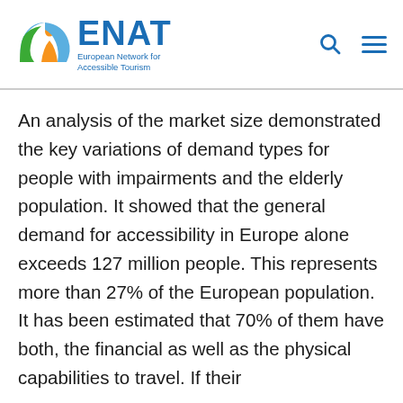ENAT European Network for Accessible Tourism
An analysis of the market size demonstrated the key variations of demand types for people with impairments and the elderly population. It showed that the general demand for accessibility in Europe alone exceeds 127 million people. This represents more than 27% of the European population. It has been estimated that 70% of them have both, the financial as well as the physical capabilities to travel. If their